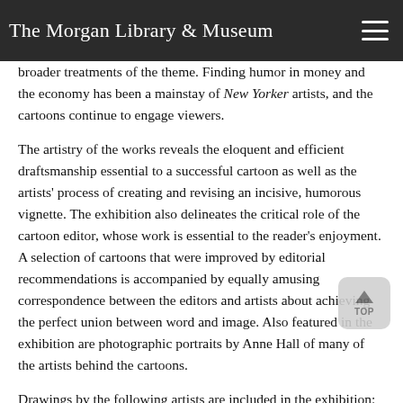The Morgan Library & Museum
broader treatments of the theme. Finding humor in money and the economy has been a mainstay of New Yorker artists, and the cartoons continue to engage viewers.
The artistry of the works reveals the eloquent and efficient draftsmanship essential to a successful cartoon as well as the artists' process of creating and revising an incisive, humorous vignette. The exhibition also delineates the critical role of the cartoon editor, whose work is essential to the reader's enjoyment. A selection of cartoons that were improved by editorial recommendations is accompanied by equally amusing correspondence between the editors and artists about achieving the perfect union between word and image. Also featured in the exhibition are photographic portraits by Anne Hall of many of the artists behind the cartoons.
Drawings by the following artists are included in the exhibition: Ed Arno; Perry Barlow (1892–1977); Charles Barsotti; George Booth; Roz Chast; Tom Cheney; Richard Cline; Frank Cotham;